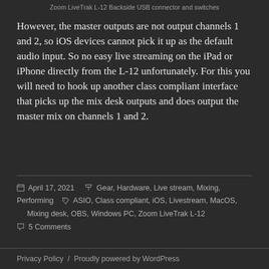Zoom LiveTrak L-12 Backside USB connector and switches
However, the master outputs are not output channels 1 and 2, so iOS devices cannot pick it up as the default audio input. So no easy live streaming on the iPad or iPhone directly from the L-12 unfortunately. For this you will need to hook up another class compliant interface that picks up the mix desk outputs and does output the master mix on channels 1 and 2.
April 17, 2021   Gear, Hardware, Live stream, Mixing, Performing   ASIO, Class compliant, iOS, Livestream, MacOS, Mixing desk, OBS, Windows PC, Zoom LiveTrak L-12   5 Comments
Privacy Policy  /  Proudly powered by WordPress